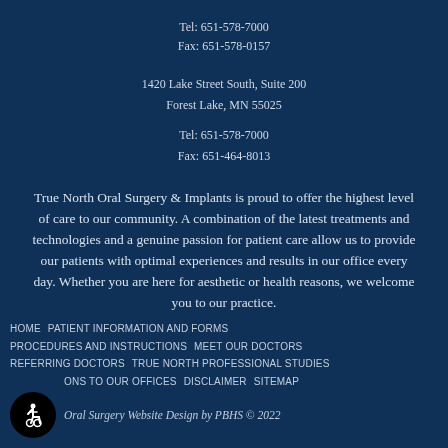Tel: 651-578-7000
Fax: 651-578-0157
1420 Lake Street South, Suite 200
Forest Lake, MN 55025
Tel: 651-578-7000
Fax: 651-464-8013
True North Oral Surgery & Implants is proud to offer the highest level of care to our community. A combination of the latest treatments and technologies and a genuine passion for patient care allow us to provide our patients with optimal experiences and results in our office every day. Whether you are here for aesthetic or health reasons, we welcome you to our practice.
HOME   PATIENT INFORMATION AND FORMS   PROCEDURES AND INSTRUCTIONS   MEET OUR DOCTORS   REFERRING DOCTORS   TRUE NORTH PROFESSIONAL STUDIES   DIRECTIONS TO OUR OFFICES   DISCLAIMER   SITEMAP   Oral Surgery Website Design by PBHS © 2022